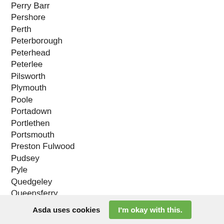Perry Barr
Pershore
Perth
Peterborough
Peterhead
Peterlee
Pilsworth
Plymouth
Poole
Portadown
Portlethen
Portsmouth
Preston Fulwood
Pudsey
Pyle
Quedgeley
Queensferry
Queslet
Radcliffe
Asda uses cookies
I'm okay with this.